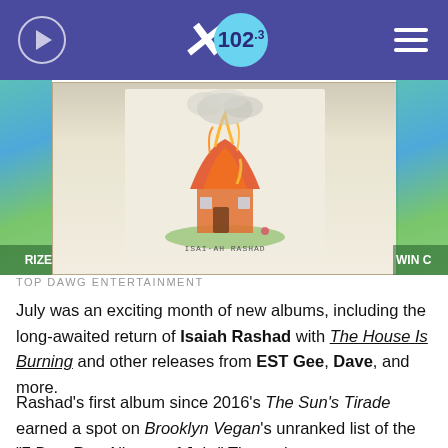X 102.3
[Figure (photo): Album art for 'The House Is Burning' by Isaiah Rashad — a pencil/crayon sketch of a house on fire on a square card with text 'Isaiah Rashad' handwritten below]
TOP DAWG ENTERTAINMENT
July was an exciting month of new albums, including the long-awaited return of Isaiah Rashad with The House Is Burning and other releases from EST Gee, Dave, and more.
Rashad's first album since 2016's The Sun's Tirade earned a spot on Brooklyn Vegan's unranked list of the "7 Best Rap Albums of July." The outlet